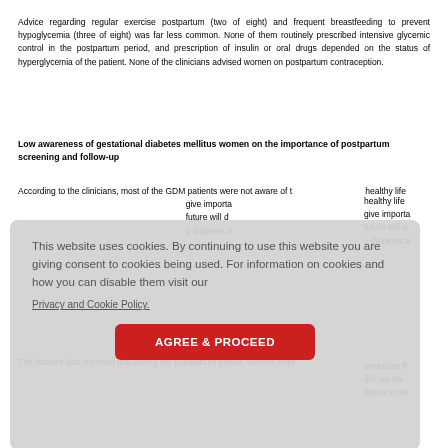Advice regarding regular exercise postpartum (two of eight) and frequent breastfeeding to prevent hypoglycemia (three of eight) was far less common. None of them routinely prescribed intensive glycemic control in the postpartum period, and prescription of insulin or oral drugs depended on the status of hyperglycemia of the patient. None of the clinicians advised women on postpartum contraception.
Low awareness of gestational diabetes mellitus women on the importance of postpartum screening and follow-up
According to the clinicians, most of the GDM patients were not aware of the importance of healthy lifestyle modifications after delivery. They also reported that clinicians did not give importance to follow-up visits after delivery. A GDM patient's glycemic status in the future will depend on lifestyle modifications. And many of them will progress to diabetes and pre-diabetes.
structions from did not take artum screen
The doctors also reported that during the postpartum period, women were
This website uses cookies. By continuing to use this website you are giving consent to cookies being used. For information on cookies and how you can disable them visit our Privacy and Cookie Policy. AGREE & PROCEED